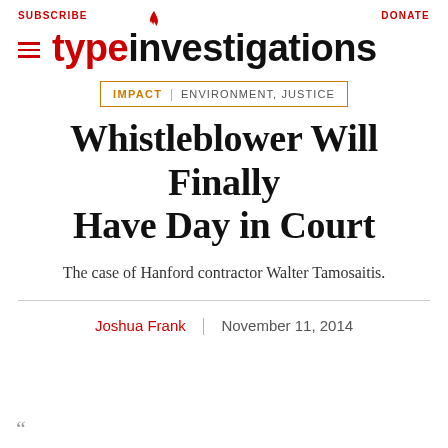SUBSCRIBE   DONATE
[Figure (logo): Type Investigations logo with hamburger menu icon, red flame on 'i', bold red 'type' and black 'investigations']
IMPACT | ENVIRONMENT, JUSTICE
Whistleblower Will Finally Have Day in Court
The case of Hanford contractor Walter Tamosaitis.
Joshua Frank | November 11, 2014